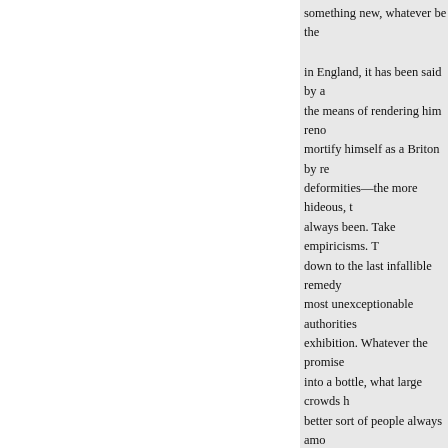something new, whatever be the
in England, it has been said by a the means of rendering him reno mortify himself as a Briton by re deformities—the more hideous, t always been. Take empiricisms. T down to the last infallible remedy most unexceptionable authorities exhibition. Whatever the promise into a bottle, what large crowds h better sort of people always amo insulated facts, and a few doubtf some very clever men have advo they could not convince. In the a successfully tried, till there seem heels in the air—This would cert and who could deny that there w
But what exemplifications, had v absurdity and extravagance! Has considerable attention ? Did not